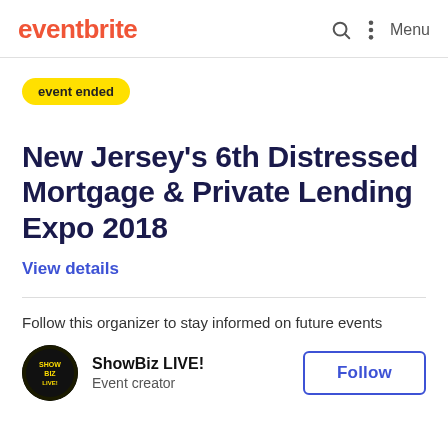eventbrite  Menu
event ended
New Jersey's 6th Distressed Mortgage & Private Lending Expo 2018
View details
Follow this organizer to stay informed on future events
ShowBiz LIVE! Event creator Follow